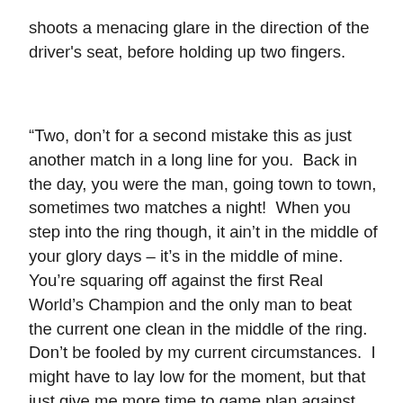shoots a menacing glare in the direction of the driver's seat, before holding up two fingers.
“Two, don’t for a second mistake this as just another match in a long line for you.  Back in the day, you were the man, going town to town, sometimes two matches a night!  When you step into the ring though, it ain’t in the middle of your glory days – it’s in the middle of mine.  You’re squaring off against the first Real World’s Champion and the only man to beat the current one clean in the middle of the ring.  Don’t be fooled by my current circumstances.  I might have to lay low for the moment, but that just give me more time to game plan against you.”